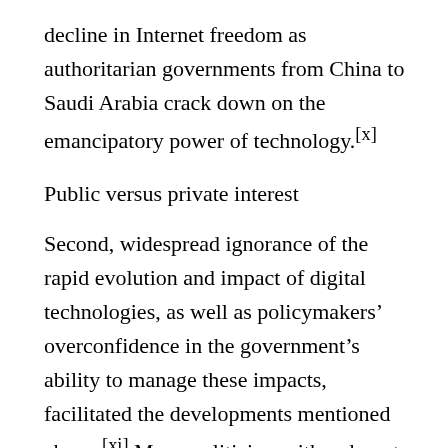decline in Internet freedom as authoritarian governments from China to Saudi Arabia crack down on the emancipatory power of technology.[x]
Public versus private interest
Second, widespread ignorance of the rapid evolution and impact of digital technologies, as well as policymakers' overconfidence in the government's ability to manage these impacts, facilitated the developments mentioned above.[xi] Many politicians either do not care about technology or simply do not understand it. See, for example, the US Senate Facebook hearings during which leading politicians had visible trouble understanding the online social media platform's underlying business model.[xii] Fatalist attitudes are